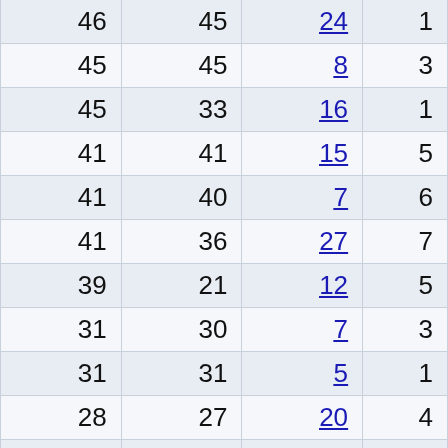| 46 | 45 | 24 | 1 |
| 45 | 45 | 8 | 3 |
| 45 | 33 | 16 | 1 |
| 41 | 41 | 15 | 5 |
| 41 | 40 | 7 | 6 |
| 41 | 36 | 27 | 7 |
| 39 | 21 | 12 | 5 |
| 31 | 30 | 7 | 3 |
| 31 | 31 | 5 | 1 |
| 28 | 27 | 20 | 4 |
| 27 | 21 | 11 | 4 |
| 27 | 25 | 13 | 2 |
| 27 | 27 | 13 | 1 |
| 26 | 26 | 8 | 4 |
| 26 | 25 | 10 | 5 |
| 26 | 20 | 6 | 0 |